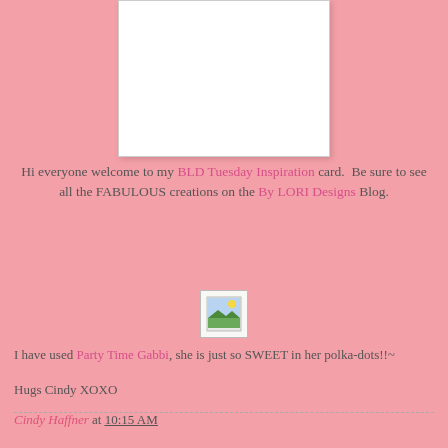[Figure (photo): A white card/image placeholder with light border and shadow at the top center of the page]
Hi everyone welcome to my BLD Tuesday Inspiration card.  Be sure to see all the FABULOUS creations on the By LORI Designs Blog.
[Figure (illustration): Small icon/thumbnail image placeholder showing a landscape image icon]
I have used Party Time Gabbi, she is just so SWEET in her polka-dots!!~
Hugs Cindy XOXO
Cindy Haffner at 10:15 AM